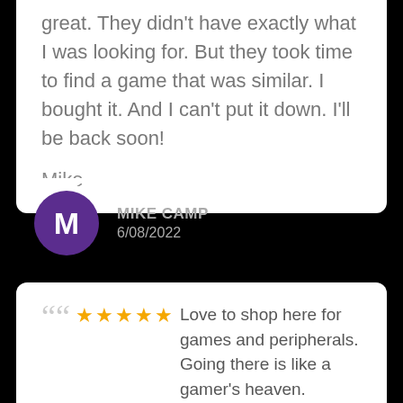great. They didn't have exactly what I was looking for. But they took time to find a game that was similar. I bought it. And I can't put it down. I'll be back soon!

Mike
MIKE CAMP
6/08/2022
★★★★★ Love to shop here for games and peripherals. Going there is like a gamer's heaven.

Kinda miss the old days here when they were running the small in house gaming